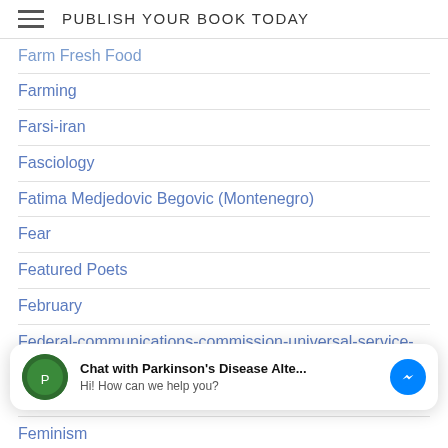PUBLISH YOUR BOOK TODAY
Farm Fresh Food
Farming
Farsi-iran
Fasciology
Fatima Medjedovic Begovic (Montenegro)
Fear
Featured Poets
February
Federal-communications-commission-universal-service-program-for-schools-and-libraries-erate
Feeling-heard
Feminism
Feminist
Feminist-poetry
Chat with Parkinson's Disease Alte... Hi! How can we help you?
Festival in a box
Fibromyalgia